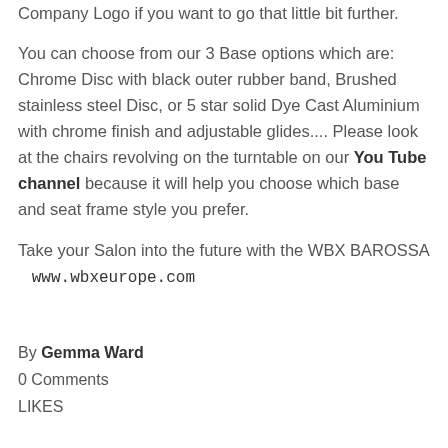Company Logo if you want to go that little bit further.
You can choose from our 3 Base options which are: Chrome Disc with black outer rubber band, Brushed stainless steel Disc, or 5 star solid Dye Cast Aluminium with chrome finish and adjustable glides.... Please look at the chairs revolving on the turntable on our You Tube channel because it will help you choose which base and seat frame style you prefer.
Take your Salon into the future with the WBX BAROSSA   www.wbxeurope.com
By Gemma Ward
0 Comments
LIKES